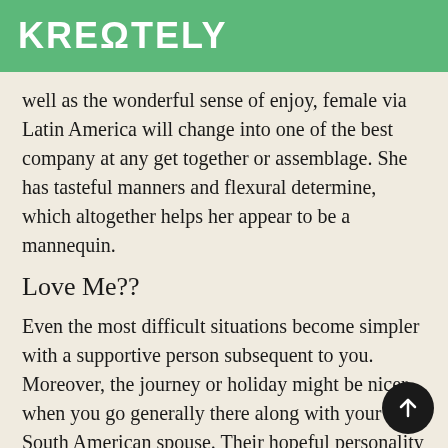KREΩTELY
well as the wonderful sense of enjoy, female via Latin America will change into one of the best company at any get together or assemblage. She has tasteful manners and flexural determine, which altogether helps her appear to be a mannequin.
Love Me??
Even the most difficult situations become simpler with a supportive person subsequent to you. Moreover, the journey or holiday might be nicer when you go generally there along with your South American spouse. Their hopeful personality and fantastic humorousness generate every day mo…